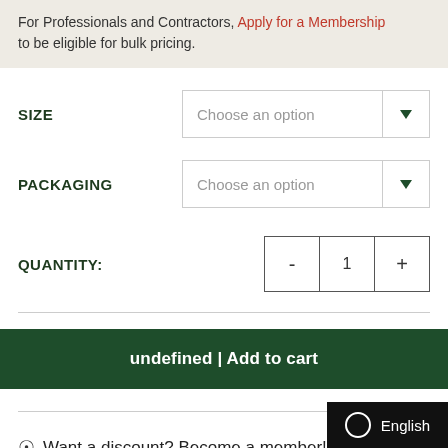For Professionals and Contractors, Apply for a Membership to be eligible for bulk pricing.
SIZE — Choose an option
PACKAGING — Choose an option
QUANTITY: - 1 +
undefined | Add to cart
Want a discount? Become a member!
English